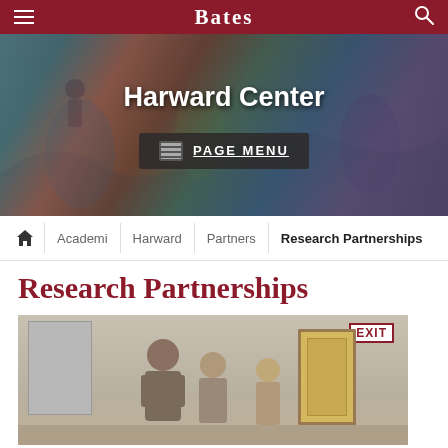Bates
Harward Center
PAGE MENU
Academi  Harward  Partners  Research Partnerships
Research Partnerships
[Figure (photo): Photo of people standing in a room with an EXIT sign, a whiteboard/panel on the left, and a wooden door in the background]